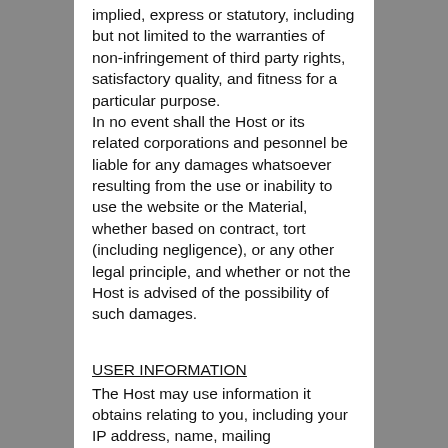implied, express or statutory, including but not limited to the warranties of non-infringement of third party rights, satisfactory quality, and fitness for a particular purpose. In no event shall the Host or its related corporations and pesonnel be liable for any damages whatsoever resulting from the use or inability to use the website or the Material, whether based on contract, tort (including negligence), or any other legal principle, and whether or not the Host is advised of the possibility of such damages.
USER INFORMATION
The Host may use information it obtains relating to you, including your IP address, name, mailing